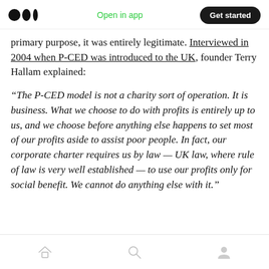Medium app header — Open in app | Get started
primary purpose, it was entirely legitimate. Interviewed in 2004 when P-CED was introduced to the UK, founder Terry Hallam explained:
“The P-CED model is not a charity sort of operation. It is business. What we choose to do with profits is entirely up to us, and we choose before anything else happens to set most of our profits aside to assist poor people. In fact, our corporate charter requires us by law — UK law, where rule of law is very well established — to use our profits only for social benefit. We cannot do anything else with it.”
Home | Search | Profile